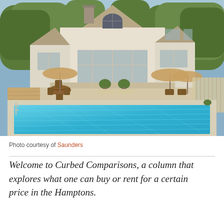[Figure (photo): Exterior photo of a large cream/beige colonial-style house with a swimming pool in the foreground. The house has multiple windows, a chimney, and an arched window above the garage area. A wooden deck with patio furniture and umbrellas is visible to the left; a fence and trees are in the background. A large rectangular in-ground pool with clear blue water dominates the lower portion of the image.]
Photo courtesy of Saunders
Welcome to Curbed Comparisons, a column that explores what one can buy or rent for a certain price in the Hamptons.